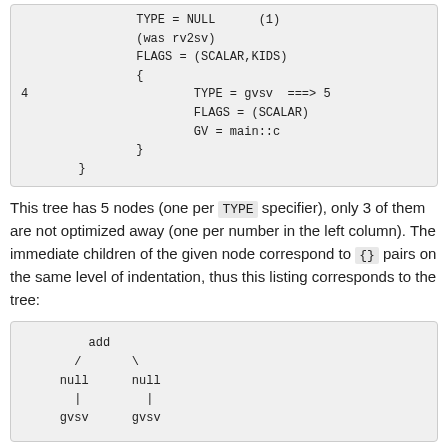(code block top continuation: TYPE = NULL (1), (was rv2sv), FLAGS = (SCALAR,KIDS), {, 4  TYPE = gvsv ===> 5, FLAGS = (SCALAR), GV = main::c, }, })
This tree has 5 nodes (one per TYPE specifier), only 3 of them are not optimized away (one per number in the left column). The immediate children of the given node correspond to {} pairs on the same level of indentation, thus this listing corresponds to the tree:
(code box: tree diagram: add, / \, null null, | |, gvsv gvsv)